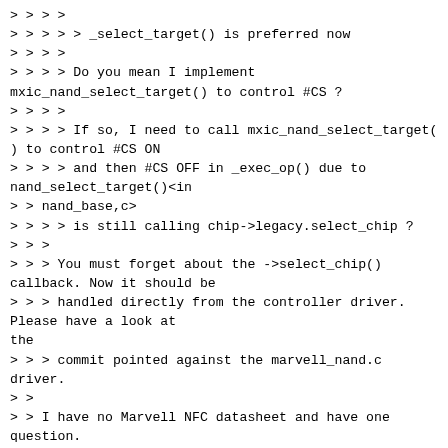> > > >
> > > > > _select_target() is preferred now
> > > >
> > > > Do you mean I implement mxic_nand_select_target() to control #CS ?
> > > >
> > > > If so, I need to call mxic_nand_select_target() to control #CS ON
> > > > and then #CS OFF in _exec_op() due to nand_select_target()<in
> > nand_base,c>
> > > > is still calling chip->legacy.select_chip ?
> > >
> > > You must forget about the ->select_chip() callback. Now it should be
> > > handled directly from the controller driver. Please have a look at the
> > > commit pointed against the marvell_nand.c driver.
> >
> > I have no Marvell NFC datasheet and have one question.
> >
> > In marvell_nand.c, there is no xxx_deselect_target() or
> > something like that doing #CS OFF.
> > marvell_nfc_select_target() seems always to make one of chip or die
> > #CS keep low.
> >